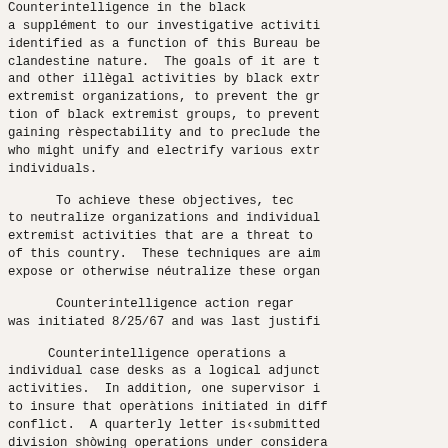Counterintelligence in the black extremist field is a supplement to our investigative activities and has been identified as a function of this Bureau because of its clandestine nature. The goals of it are to expose violence and other illegal activities by black extremist organizations, extremist organizations, to prevent the growth and unification of black extremist groups, to prevent such groups from gaining respectability and to preclude the rise of a leader who might unify and electrify various extremist groups and individuals.
To achieve these objectives, techniques are used to neutralize organizations and individuals engaging in extremist activities that are a threat to security interests of this country. These techniques are aimed to disrupt, expose or otherwise neutralize these organizations.
Counterintelligence action regarding black extremists was initiated 8/25/67 and was last justified...
Counterintelligence operations are handled through individual case desks as a logical adjunct to investigative activities. In addition, one supervisor is assigned solely to insure that operations initiated in different cases do not conflict. A quarterly letter is submitted from each field division showing operations under consideration and approvals gained. All communications authorizing the initiation of counterintelligence operations are routed through the office of the Director William C. Sullivan; no operations are initiated by the field without Bureau approval.